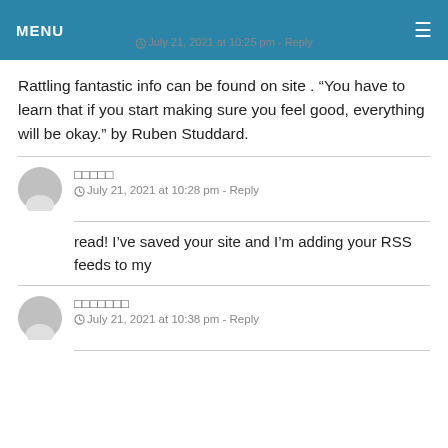MENU
July 21, 2021 at 10:25 pm - Reply
Rattling fantastic info can be found on site . “You have to learn that if you start making sure you feel good, everything will be okay.” by Ruben Studdard.
□□□□□
July 21, 2021 at 10:28 pm - Reply
read! I’ve saved your site and I’m adding your RSS feeds to my
□□□□□□□
July 21, 2021 at 10:38 pm - Reply